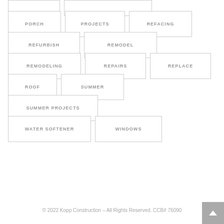PORCH
PROJECTS
REFACING
REFURBISH
REMODEL
REMODELING
REPAIRS
REPLACE
ROOF
SUMMER
SUMMER PROJECTS
WATER SOFTENER
WINDOWS
© 2022 Kopp Construction – All Rights Reserved. CCB# 76090